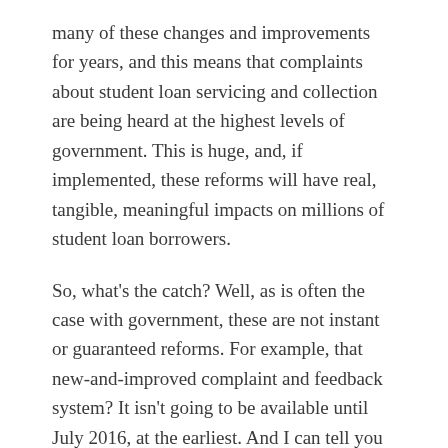many of these changes and improvements for years, and this means that complaints about student loan servicing and collection are being heard at the highest levels of government. This is huge, and, if implemented, these reforms will have real, tangible, meaningful impacts on millions of student loan borrowers.
So, what's the catch? Well, as is often the case with government, these are not instant or guaranteed reforms. For example, that new-and-improved complaint and feedback system? It isn't going to be available until July 2016, at the earliest. And I can tell you from experience that new programs and systems, even when implemented, often take months or years to function as they are intended. Other provisions of the memorandum, such as higher standards for servicing and debt collection